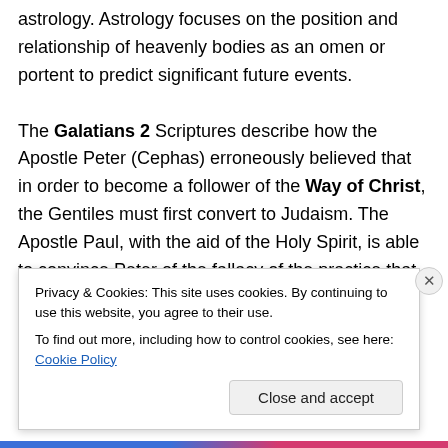astrology. Astrology focuses on the position and relationship of heavenly bodies as an omen or portent to predict significant future events.

The Galatians 2 Scriptures describe how the Apostle Peter (Cephas) erroneously believed that in order to become a follower of the Way of Christ, the Gentiles must first convert to Judaism. The Apostle Paul, with the aid of the Holy Spirit, is able to convince Peter of the fallacy of the practice that required an individual's conversion to one religion, as a prerequisite for the other. More significantly, the New Covenant through Christ eliminated many of the...
Privacy & Cookies: This site uses cookies. By continuing to use this website, you agree to their use.
To find out more, including how to control cookies, see here: Cookie Policy